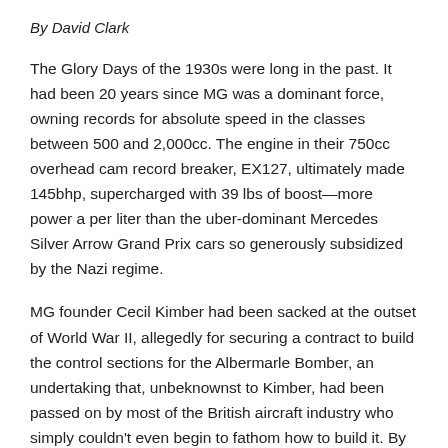By David Clark
The Glory Days of the 1930s were long in the past. It had been 20 years since MG was a dominant force, owning records for absolute speed in the classes between 500 and 2,000cc. The engine in their 750cc overhead cam record breaker, EX127, ultimately made 145bhp, supercharged with 39 lbs of boost—more power a per liter than the uber-dominant Mercedes Silver Arrow Grand Prix cars so generously subsidized by the Nazi regime.
MG founder Cecil Kimber had been sacked at the outset of World War II, allegedly for securing a contract to build the control sections for the Albermarle Bomber, an undertaking that, unbeknownst to Kimber, had been passed on by most of the British aircraft industry who simply couldn't even begin to fathom how to build it. By the war's end, the tiny workforce in Abingdon had...